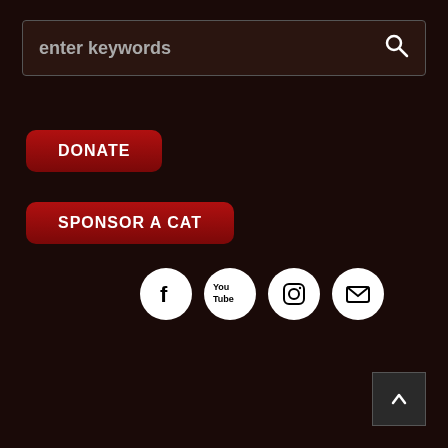enter keywords
DONATE
SPONSOR A CAT
[Figure (illustration): Social media icons: Facebook, YouTube, Instagram, Email — white circles on dark background]
[Figure (illustration): Back to top arrow button, bottom right corner]